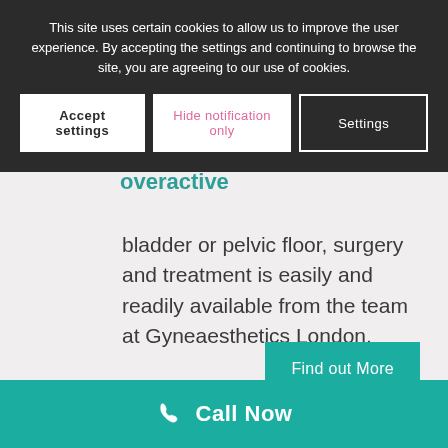Urogynaecology and female
bladder or pelvic floor, surgery and treatment is easily and readily available from the team at Gyneaesthetics London.
This site uses certain cookies to allow us to improve the user experience. By accepting the settings and continuing to browse the site, you are agreeing to our use of cookies.
Accept settings
Hide notification only
Settings
Find out More
overactive
r your
Call Now